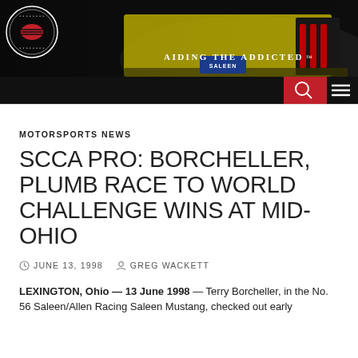[Figure (photo): Website header banner showing a yellow Saleen Mustang from behind in a dark setting, with a circular SOEC club logo on the left and the text 'AIDING THE ADDICTED™' on the right, plus a red search button and hamburger menu icon below.]
MOTORSPORTS NEWS
SCCA PRO: BORCHELLER, PLUMB RACE TO WORLD CHALLENGE WINS AT MID-OHIO
JUNE 13, 1998   GREG WACKETT
LEXINGTON, Ohio — 13 June 1998 — Terry Borcheller, in the No. 56 Saleen/Allen Racing Saleen Mustang, checked out early